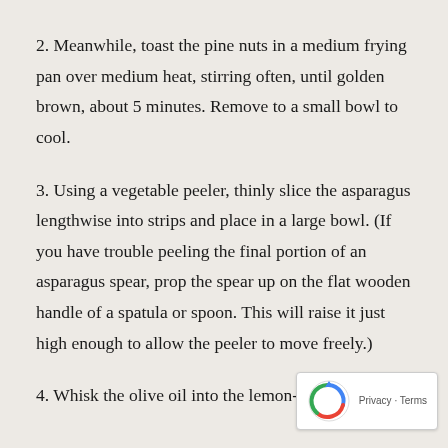2. Meanwhile, toast the pine nuts in a medium frying pan over medium heat, stirring often, until golden brown, about 5 minutes. Remove to a small bowl to cool.
3. Using a vegetable peeler, thinly slice the asparagus lengthwise into strips and place in a large bowl. (If you have trouble peeling the final portion of an asparagus spear, prop the spear up on the flat wooden handle of a spatula or spoon. This will raise it just high enough to allow the peeler to move freely.)
4. Whisk the olive oil into the lemon-vinegar mixture in a thin and steady stream. Taste and season the dressing